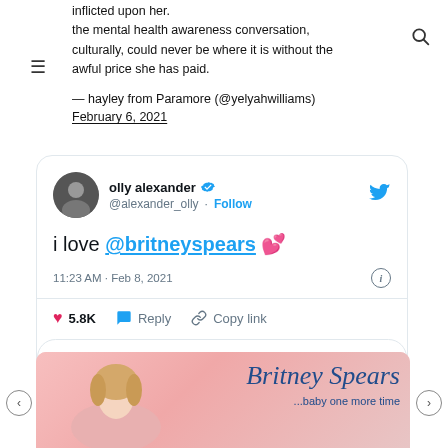inflicted upon her. the mental health awareness conversation, culturally, could never be where it is without the awful price she has paid.
— hayley from Paramore (@yelyahwilliams) February 6, 2021
[Figure (screenshot): Embedded tweet from @alexander_olly (olly alexander) with verified badge. Tweet text: 'i love @britneyspears 💕'. Posted 11:23 AM · Feb 8, 2021. 5.8K likes. Actions: Reply, Copy link. Read 110 replies button.]
[Figure (photo): Bottom portion of a Britney Spears album/promotional image with pink background, person with blonde hair visible, script text reading 'Britney Spears' and subtitle '...baby one more time'. Carousel arrows on left and right.]